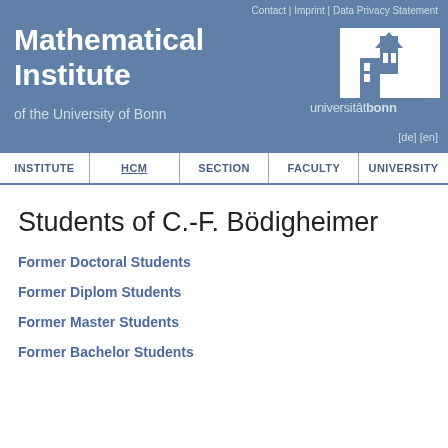Contact | Imprint | Data Privacy Statement
Mathematical Institute of the University of Bonn
[Figure (logo): Universität Bonn logo with tower silhouette and text 'universitätbonn']
[de] [en]
INSTITUTE | HCM | SECTION | FACULTY | UNIVERSITY
Students of C.-F. Bödigheimer
Former Doctoral Students
Former Diplom Students
Former Master Students
Former Bachelor Students